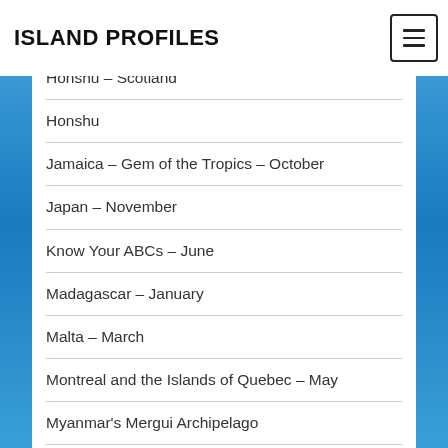ISLAND PROFILES
Honshu – Scotland
Honshu
Jamaica – Gem of the Tropics – October
Japan – November
Know Your ABCs – June
Madagascar – January
Malta – March
Montreal and the Islands of Quebec – May
Myanmar's Mergui Archipelago
Nantucket – September
New Caledonia